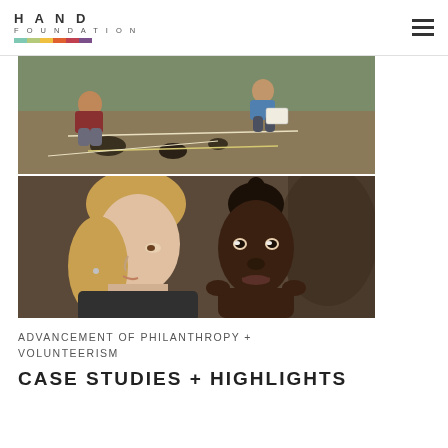HAND FOUNDATION
[Figure (photo): Two people kneeling on bare ground outdoors, working with measuring tapes and objects on the dirt. One person wears a blue shirt.]
[Figure (photo): A young white woman with blonde hair leans toward a young African child, both in close proximity. The background is blurred and dark.]
ADVANCEMENT OF PHILANTHROPY + VOLUNTEERISM
CASE STUDIES + HIGHLIGHTS